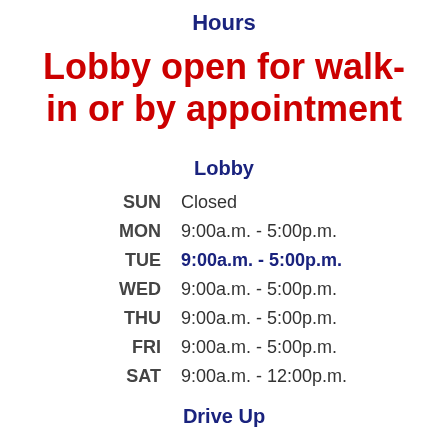Hours
Lobby open for walk-in or by appointment
Lobby
| Day | Hours |
| --- | --- |
| SUN | Closed |
| MON | 9:00a.m. - 5:00p.m. |
| TUE | 9:00a.m. - 5:00p.m. |
| WED | 9:00a.m. - 5:00p.m. |
| THU | 9:00a.m. - 5:00p.m. |
| FRI | 9:00a.m. - 5:00p.m. |
| SAT | 9:00a.m. - 12:00p.m. |
Drive Up